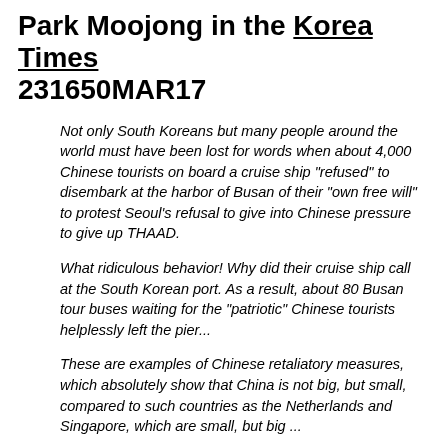Park Moojong in the Korea Times 231650MAR17
Not only South Koreans but many people around the world must have been lost for words when about 4,000 Chinese tourists on board a cruise ship "refused" to disembark at the harbor of Busan of their "own free will" to protest Seoul's refusal to give into Chinese pressure to give up THAAD.
What ridiculous behavior! Why did their cruise ship call at the South Korean port. As a result, about 80 Busan tour buses waiting for the "patriotic" Chinese tourists helplessly left the pier...
These are examples of Chinese retaliatory measures, which absolutely show that China is not big, but small, compared to such countries as the Netherlands and Singapore, which are small, but big ...